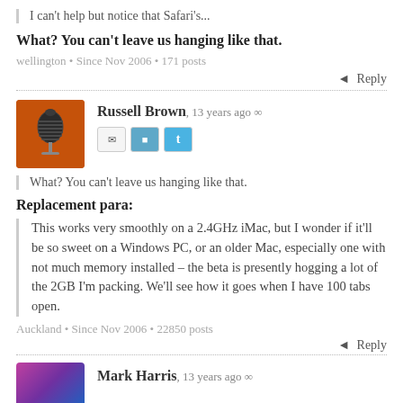I can't help but notice that Safari's...
What? You can't leave us hanging like that.
wellington • Since Nov 2006 • 171 posts
Reply
Russell Brown, 13 years ago
[Figure (photo): Avatar image of a vintage microphone on an orange background]
What? You can't leave us hanging like that.
Replacement para:
This works very smoothly on a 2.4GHz iMac, but I wonder if it'll be so sweet on a Windows PC, or an older Mac, especially one with not much memory installed – the beta is presently hogging a lot of the 2GB I'm packing. We'll see how it goes when I have 100 tabs open.
Auckland • Since Nov 2006 • 22850 posts
Reply
Mark Harris, 13 years ago